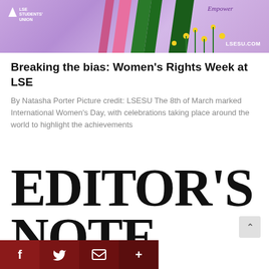[Figure (illustration): LSE Students' Union banner with purple background, colorful vertical stripes (green, pink, dark green), flowers, 'Empower' text, and LSESU.COM branding]
Breaking the bias: Women's Rights Week at LSE
By Natasha Porter Picture credit: LSESU The 8th of March marked International Women's Day, with celebrations taking place around the world to highlight the achievements
EDITOR'S NOTE